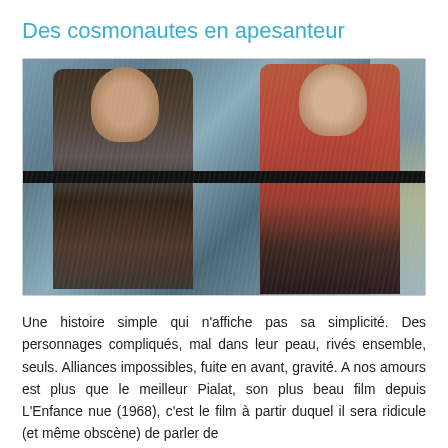Des cosmonautes en apesanteur
[Figure (photo): A movie still showing two young people facing each other in an embrace, apparently in the rain or near a rainy window. A male figure on the left wearing a striped scarf and a female figure on the right in a red sweater. A dark horizontal bar crosses the middle of the image.]
Une histoire simple qui n'affiche pas sa simplicité. Des personnages compliqués, mal dans leur peau, rivés ensemble, seuls. Alliances impossibles, fuite en avant, gravité. A nos amours est plus que le meilleur Pialat, son plus beau film depuis L'Enfance nue (1968), c'est le film à partir duquel il sera ridicule (et même obscène) de parler de